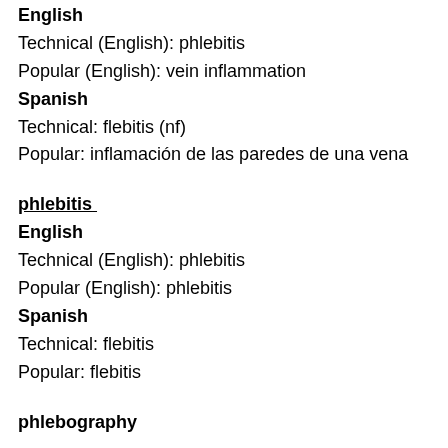English
Technical (English): phlebitis
Popular (English): vein inflammation
Spanish
Technical: flebitis (nf)
Popular: inflamación de las paredes de una vena
phlebitis
English
Technical (English): phlebitis
Popular (English): phlebitis
Spanish
Technical: flebitis
Popular: flebitis
phlebography